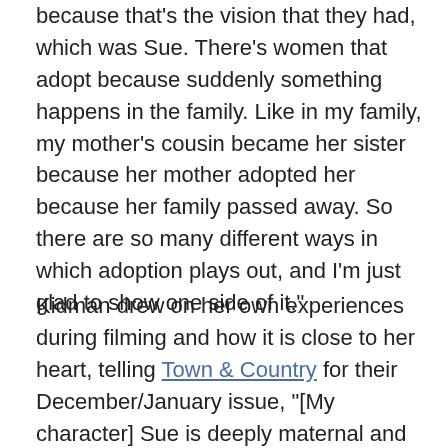because that's the vision that they had, which was Sue. There's women that adopt because suddenly something happens in the family. Like in my family, my mother's cousin became her sister because her mother adopted her because her family passed away. So there are so many different ways in which adoption plays out, and I'm just glad to show one side of it."
Kidman drew on her own experiences during filming and how it is close to her heart, telling Town & Country for their December/January issue, "[My character] Sue is deeply maternal and full of unconditional love, which is beautiful. That's why I